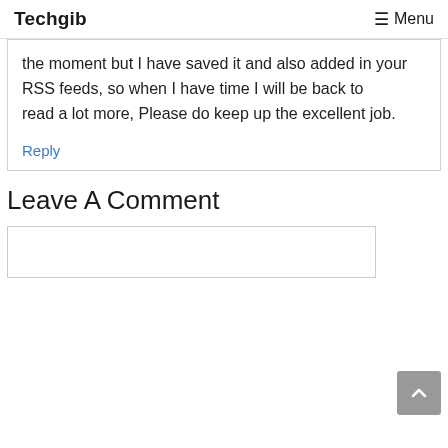Techgib  Menu
the moment but I have saved it and also added in your RSS feeds, so when I have time I will be back to read a lot more, Please do keep up the excellent job.
Reply
Leave A Comment